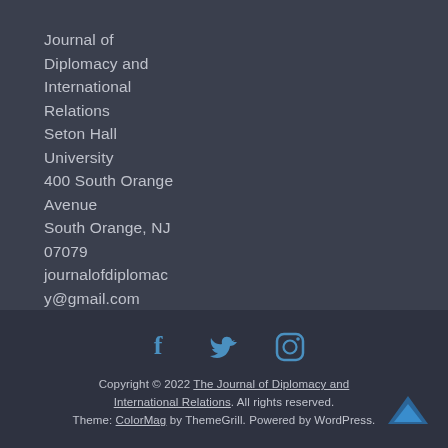Journal of Diplomacy and International Relations
Seton Hall University
400 South Orange Avenue
South Orange, NJ 07079
journalofdiplomacy@gmail.com
[Figure (other): Social media icons: Facebook (f), Twitter (bird), Instagram (camera)]
Copyright © 2022 The Journal of Diplomacy and International Relations. All rights reserved. Theme: ColorMag by ThemeGrill. Powered by WordPress.